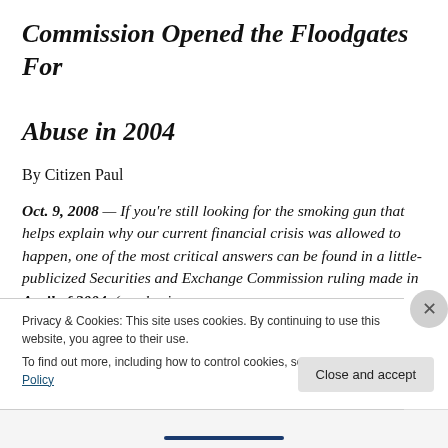Commission Opened the Floodgates For Abuse in 2004
By Citizen Paul
Oct. 9, 2008 — If you're still looking for the smoking gun that helps explain why our current financial crisis was allowed to happen, one of the most critical answers can be found in a little-publicized Securities and Exchange Commission ruling made in April of 2004. (emphasis
Privacy & Cookies: This site uses cookies. By continuing to use this website, you agree to their use.
To find out more, including how to control cookies, see here: Cookie Policy
Close and accept